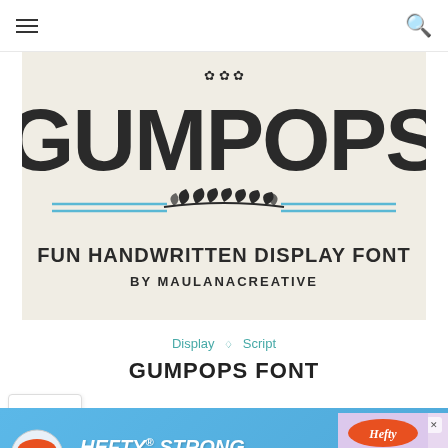Navigation bar with hamburger menu and search icon
[Figure (illustration): Gumpops font preview on cream/beige background showing large dark 'GUMPOPS' lettering with decorative leaf/branch divider with blue double lines, subtitle 'FUN HANDWRITTEN DISPLAY FONT BY MAULANACREATIVE']
Display ◇ Script
GUMPOPS FONT
[Figure (infographic): Hefty advertisement banner with blue background showing Hefty and Fabuloso logos with text 'HEFTY STRONG, FABULOSO FRESH' and product image on right]